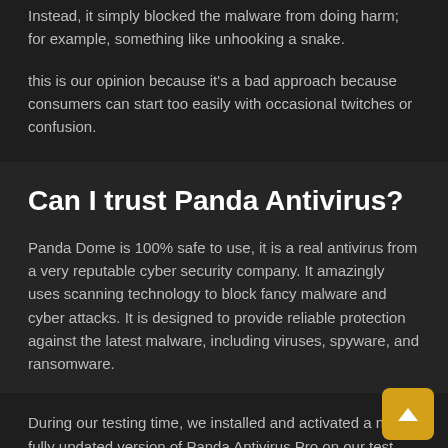Instead, it simply blocked the malware from doing harm; for example, something like unhooking a snake.
this is our opinion because it's a bad approach because consumers can start too easily with occasional twitches or confusion.
Can I trust Panda Antivirus?
Panda Dome is 100% safe to use, it is a real antivirus from a very reputable cyber security company. It amazingly uses scanning technology to block fancy malware and cyber attacks. It is designed to provide reliable protection against the latest malware, including viruses, spyware, and ransomware.
During our testing time, we installed and activated a new, fully updated version of Panda Antivirus Pro on our test PCs, then downloaded and installed a whole bunch of different types, including malware, root causes, Trojan horses, spyware, etc. As a result, Panda was able to block and destroy threats faster than we could launch and install them. Very impressive.